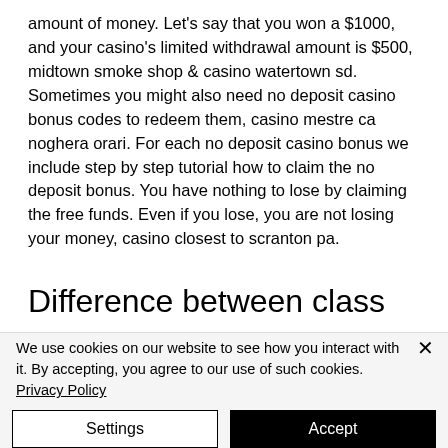amount of money. Let's say that you won a $1000, and your casino's limited withdrawal amount is $500, midtown smoke shop & casino watertown sd. Sometimes you might also need no deposit casino bonus codes to redeem them, casino mestre ca noghera orari. For each no deposit casino bonus we include step by step tutorial how to claim the no deposit bonus. You have nothing to lose by claiming the free funds. Even if you lose, you are not losing your money, casino closest to scranton pa.
Difference between class
We use cookies on our website to see how you interact with it. By accepting, you agree to our use of such cookies. Privacy Policy
Settings
Accept